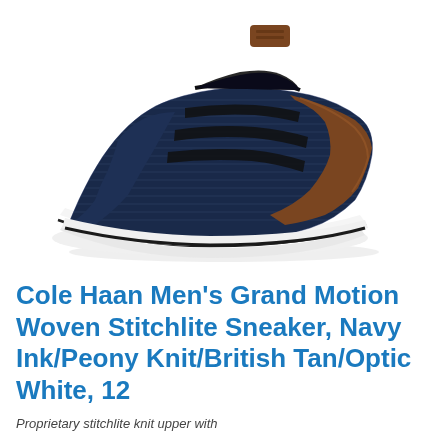[Figure (photo): A navy blue and brown men's sneaker (Cole Haan Grand Motion Woven Stitchlite) on a white background, shown from a 3/4 angle. The shoe features navy knit upper, brown leather accents, black laces and overlays, and a white sole.]
Cole Haan Men's Grand Motion Woven Stitchlite Sneaker, Navy Ink/Peony Knit/British Tan/Optic White, 12
Proprietary stitchlite knit upper with